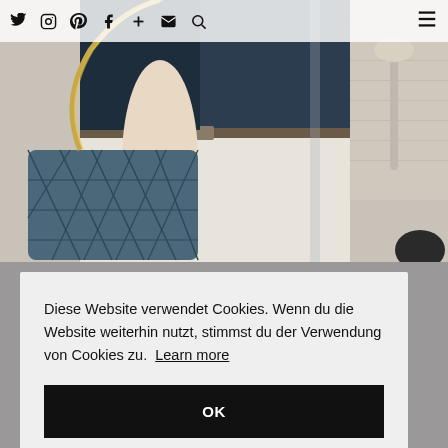[Figure (screenshot): Navigation bar with social media icons: Twitter, Instagram, Pinterest, Facebook, Plus, Email, Search, and a hamburger menu icon on the right.]
[Figure (photo): Fashion photo showing a person wearing a navy blue top and white trousers with a belt, carrying a quilted denim Chanel-style handbag with a gold chain strap, wearing a watch and rings.]
Diese Website verwendet Cookies. Wenn du die Website weiterhin nutzt, stimmst du der Verwendung von Cookies zu. Learn more
OK